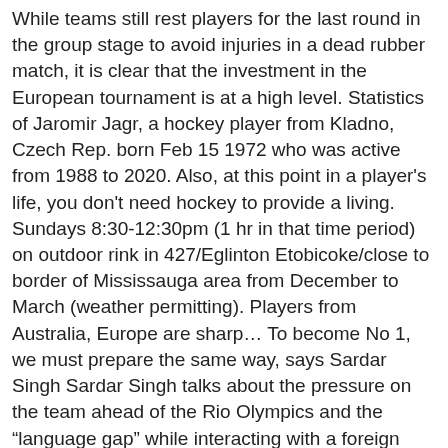While teams still rest players for the last round in the group stage to avoid injuries in a dead rubber match, it is clear that the investment in the European tournament is at a high level. Statistics of Jaromir Jagr, a hockey player from Kladno, Czech Rep. born Feb 15 1972 who was active from 1988 to 2020. Also, at this point in a player's life, you don't need hockey to provide a living. Sundays 8:30-12:30pm (1 hr in that time period) on outdoor rink in 427/Eglinton Etobicoke/close to border of Mississauga area from December to March (weather permitting). Players from Australia, Europe are sharp… To become No 1, we must prepare the same way, says Sardar Singh Sardar Singh talks about the pressure on the team ahead of the Rio Olympics and the “language gap” while interacting with a foreign coach. An international league, the AlpsHL is made up of 16 teams from across Italy, Austria, and Slovenia. Most of these leagues have a bench of six (called the utility slots), and six of your players will be on the bench at all times. Having options is always a good thing. Firstly, the most